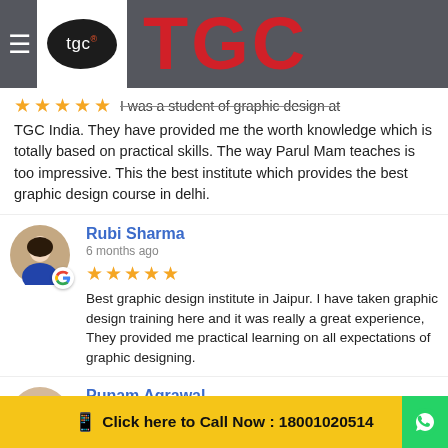[Figure (logo): TGC logo with black oval containing 'tgc' text and large red TGC text on dark grey header bar]
I was a student of graphic design at TGC India. They have provided me the worth knowledge which is totally based on practical skills. The way Parul Mam teaches is too impressive. This the best institute which provides the best graphic design course in delhi.
Rubi Sharma
6 months ago
Best graphic design institute in Jaipur. I have taken graphic design training here and it was really a great experience. They provided me practical learning on all expectations of graphic designing.
Punam Agrawal
6 months ago
I joined TGC Jaipur back in 2018 for my web design course in Jaipur and now I am an employee at
Click here to Call Now : 18001020514